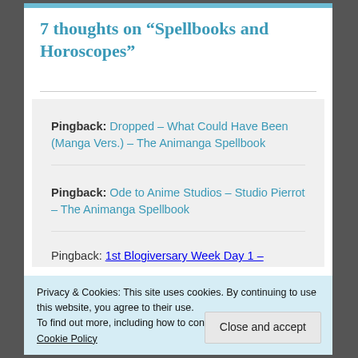7 thoughts on “Spellbooks and Horoscopes”
Pingback: Dropped – What Could Have Been (Manga Vers.) – The Animanga Spellbook
Pingback: Ode to Anime Studios – Studio Pierrot – The Animanga Spellbook
Pingback: 1st Blogiversary Week Day 1 –
Privacy & Cookies: This site uses cookies. By continuing to use this website, you agree to their use.
To find out more, including how to control cookies, see here: Cookie Policy